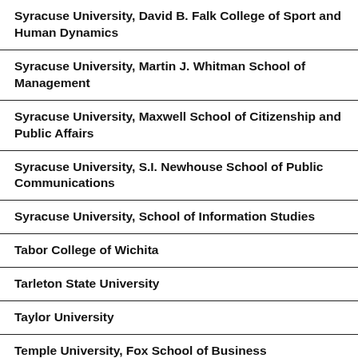Syracuse University, David B. Falk College of Sport and Human Dynamics
Syracuse University, Martin J. Whitman School of Management
Syracuse University, Maxwell School of Citizenship and Public Affairs
Syracuse University, S.I. Newhouse School of Public Communications
Syracuse University, School of Information Studies
Tabor College of Wichita
Tarleton State University
Taylor University
Temple University, Fox School of Business
Temple University, Graduate Programs